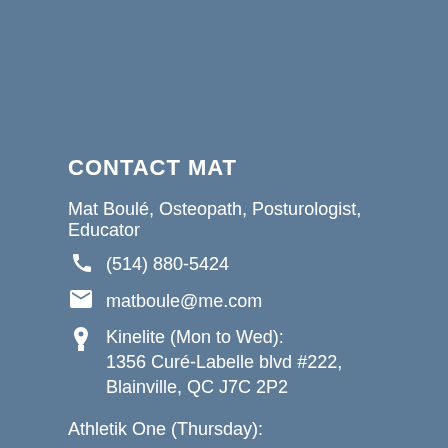CONTACT MAT
Mat Boulé, Osteopath, Posturologist, Educator
📞 (514) 880-5424
✉ matboule@me.com
📍 Kinelite (Mon to Wed): 1356 Curé-Labelle blvd #222, Blainville, QC J7C 2P2
Athletik One (Thursday): 2068 Transcanadian Est, Dorval, QC H9P 2N4
Cardiolistik (Friday): 10130 Chambord, Montreal, QC H2C 2R3